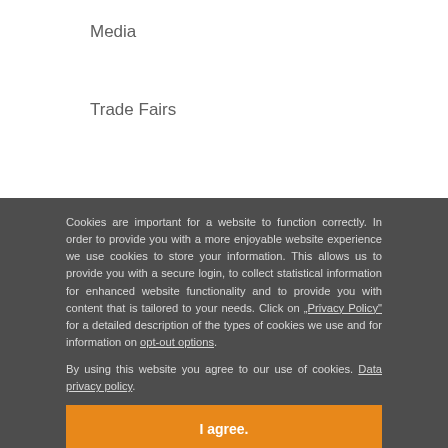Media
Trade Fairs
Cookies are important for a website to function correctly. In order to provide you with a more enjoyable website experience we use cookies to store your information. This allows us to provide you with a secure login, to collect statistical information for enhanced website functionality and to provide you with content that is tailored to your needs. Click on „Privacy Policy“ for a detailed description of the types of cookies we use and for information on opt-out options.

By using this website you agree to our use of cookies. Data privacy policy.
I agree.